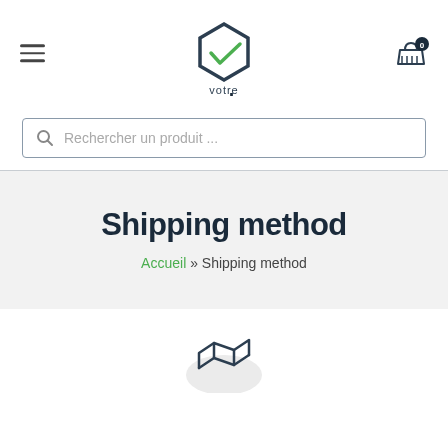[Figure (logo): Votre Carrelage .com logo with hexagon checkmark icon]
Rechercher un produit ...
Shipping method
Accueil » Shipping method
[Figure (illustration): Partial delivery/shipping icon at the bottom]